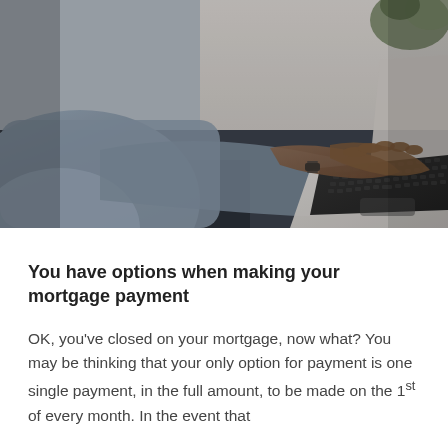[Figure (photo): A person wearing a grey long-sleeve shirt typing on a silver laptop, photographed from the side/above. Dark background with a plant visible in the upper right corner.]
You have options when making your mortgage payment
OK, you’ve closed on your mortgage, now what? You may be thinking that your only option for payment is one single payment, in the full amount, to be made on the 1st of every month. In the event that…